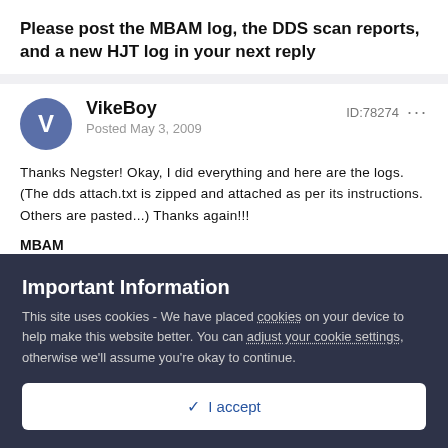Please post the MBAM log, the DDS scan reports, and a new HJT log in your next reply
VikeBoy
Posted May 3, 2009
ID:78274
Thanks Negster! Okay, I did everything and here are the logs. (The dds attach.txt is zipped and attached as per its instructions. Others are pasted...) Thanks again!!!
MBAM
Important Information
This site uses cookies - We have placed cookies on your device to help make this website better. You can adjust your cookie settings, otherwise we'll assume you're okay to continue.
✓  I accept